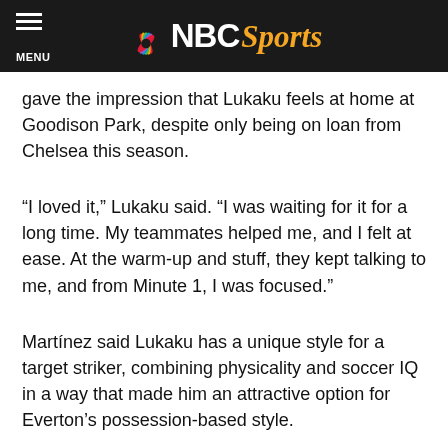NBC Sports
gave the impression that Lukaku feels at home at Goodison Park, despite only being on loan from Chelsea this season.
“I loved it,” Lukaku said. “I was waiting for it for a long time. My teammates helped me, and I felt at ease. At the warm-up and stuff, they kept talking to me, and from Minute 1, I was focused.”
Martínez said Lukaku has a unique style for a target striker, combining physicality and soccer IQ in a way that made him an attractive option for Everton’s possession-based style.
“He’s powerful, but he’s very knowledgeable,” Martínez said. “For a No. 9 to have that awareness around him technically, he’s very gifted. So that always brings a very strong package.”